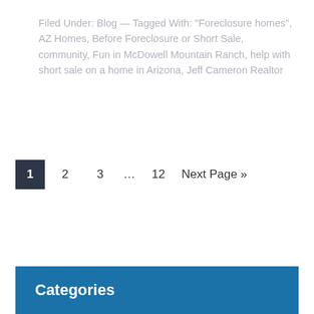Filed Under: Blog — Tagged With: "Foreclosure homes", AZ Homes, Before Foreclosure or Short Sale, community, Fun in McDowell Mountain Ranch, help with short sale on a home in Arizona, Jeff Cameron Realtor
1  2  3  ...  12  Next Page »
Categories